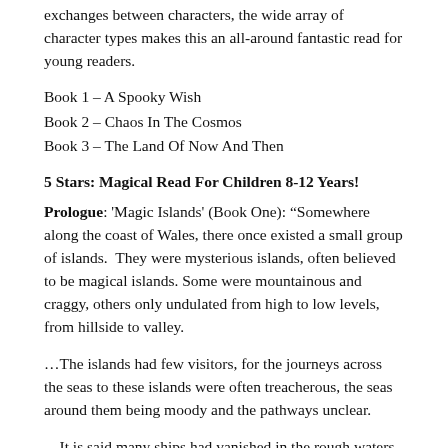exchanges between characters, the wide array of character types makes this an all-around fantastic read for young readers.
Book 1 – A Spooky Wish
Book 2 – Chaos In The Cosmos
Book 3 – The Land Of Now And Then
5 Stars: Magical Read For Children 8-12 Years!
Prologue: 'Magic Islands' (Book One): “Somewhere along the coast of Wales, there once existed a small group of islands.  They were mysterious islands, often believed to be magical islands. Some were mountainous and craggy, others only undulated from high to low levels, from hillside to valley.
…The islands had few visitors, for the journeys across the seas to these islands were often treacherous, the seas around them being moody and the pathways unclear.
…It is said many ships had vanished in the rough waters and never returned home to Wales. When ships returned homewards, their sailors refrained from venturing again to the islands for they feared